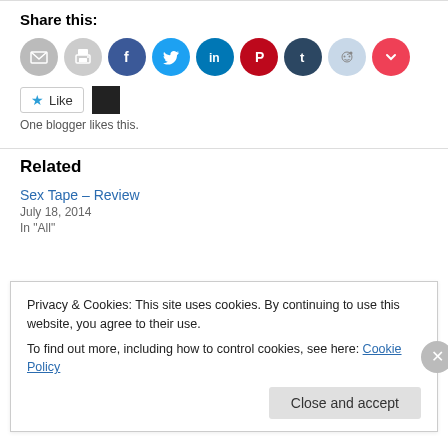Share this:
[Figure (illustration): Row of social sharing icon buttons: email, print, Facebook, Twitter, LinkedIn, Pinterest, Tumblr, Reddit, Pocket]
[Figure (illustration): Like button with star icon and a blogger avatar square. Text: One blogger likes this.]
Related
Sex Tape – Review
July 18, 2014
In "All"
Privacy & Cookies: This site uses cookies. By continuing to use this website, you agree to their use.
To find out more, including how to control cookies, see here: Cookie Policy
Close and accept